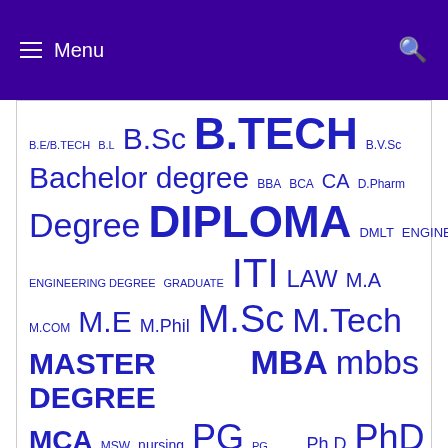Menu
[Figure (infographic): Tag cloud of education qualification terms in blue text of varying sizes, including B.E/B.TECH, B.L, B.Sc, B.TECH, B.V.Sc, Bachelor degree, BBA, BCA, CA, D.Pharm, Degree, DIPLOMA, DMLT, ENGINEERING, ENGINEERING DEGREE, GRADUATE, ITI, LAW, M.A, M.COM, M.E, M.Phil, M.Sc, M.Tech, MASTER DEGREE, MBA, mbbs, MCA, MSW, nursing, PG, PG DEGREE, Ph.D, PhD, READ & WRITE, read and write, UG]
©2021jobsforyoutamizha.com - Designed and